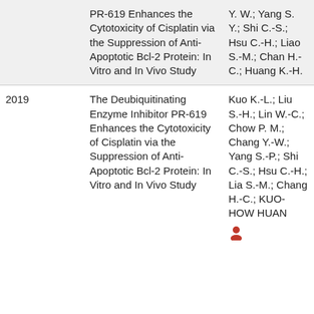| Year | Title | Authors |
| --- | --- | --- |
|  | PR-619 Enhances the Cytotoxicity of Cisplatin via the Suppression of Anti-Apoptotic Bcl-2 Protein: In Vitro and In Vivo Study | Y. W.; Yang S. Y.; Shi C.-S.; Hsu C.-H.; Liao S.-M.; Chang H.-C.; Huang K.-H. |
| 2019 | The Deubiquitinating Enzyme Inhibitor PR-619 Enhances the Cytotoxicity of Cisplatin via the Suppression of Anti-Apoptotic Bcl-2 Protein: In Vitro and In Vivo Study | Kuo K.-L.; Liu S.-H.; Lin W.-C.; Chow P.-M.; Chang Y.-W.; Yang S.-P.; Shi C.-S.; Hsu C.-H.; Lia S.-M.; Chang H.-C.; KUO-HOW HUANG [icon] |